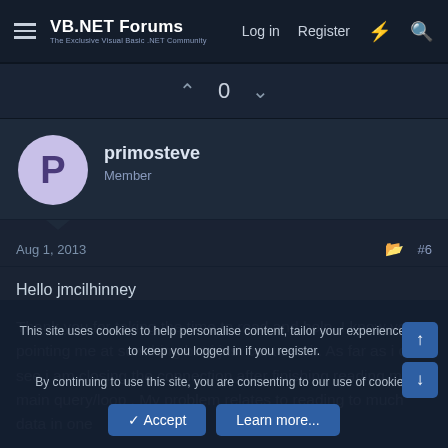VB.NET Forums — Log in  Register
0
primosteve
Member
Aug 1, 2013   #6
Hello jmcilhinney

Thank you for taking the time to read and help. I know your pointing me at somthing but i just cant see it. As far as i can see i am closing the connection after finishing reading my main query/loop . My problem relates to reading to much data in one
This site uses cookies to help personalise content, tailor your experience and to keep you logged in if you register.
By continuing to use this site, you are consenting to our use of cookies.